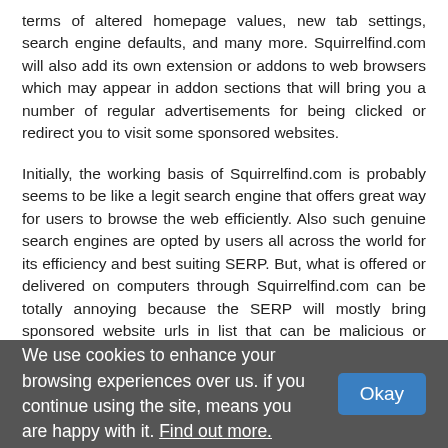terms of altered homepage values, new tab settings, search engine defaults, and many more. Squirrelfind.com will also add its own extension or addons to web browsers which may appear in addon sections that will bring you a number of regular advertisements for being clicked or redirect you to visit some sponsored websites.
Initially, the working basis of Squirrelfind.com is probably seems to be like a legit search engine that offers great way for users to browse the web efficiently. Also such genuine search engines are opted by users all across the world for its efficiency and best suiting SERP. But, what is offered or delivered on computers through Squirrelfind.com can be totally annoying because the SERP will mostly bring sponsored website urls in list that can be malicious or phishing ones. Also, the websites if visited somehow, will throw a number of pop ups or banners as well that will cover whole page and doesn’t even provide the option to opt out such adverts in real time. When clicked, the adverts opens a number of new tabs with sponsored websites and make
We use cookies to enhance your browsing experiences over us. if you continue using the site, means you are happy with it. Find out more.